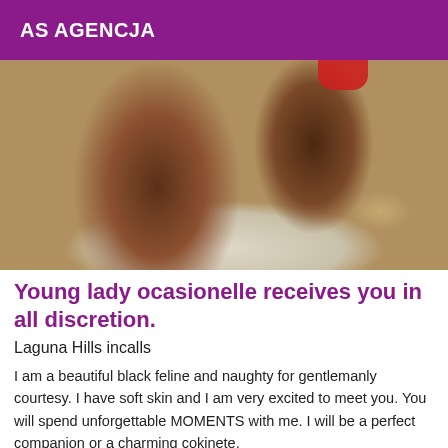AS AGENCJA
[Figure (photo): Close-up photo of a Black woman's body lying on white bedding, wearing red underwear, partially visible.]
Young lady ocasionelle receives you in all discretion.
Laguna Hills incalls
I am a beautiful black feline and naughty for gentlemanly courtesy. I have soft skin and I am very excited to meet you. You will spend unforgettable MOMENTS with me. I will be a perfect companion or a charming cokinete.